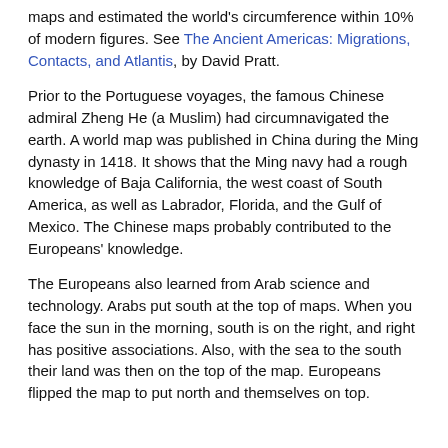maps and estimated the world's circumference within 10% of modern figures. See The Ancient Americas: Migrations, Contacts, and Atlantis, by David Pratt.
Prior to the Portuguese voyages, the famous Chinese admiral Zheng He (a Muslim) had circumnavigated the earth. A world map was published in China during the Ming dynasty in 1418. It shows that the Ming navy had a rough knowledge of Baja California, the west coast of South America, as well as Labrador, Florida, and the Gulf of Mexico. The Chinese maps probably contributed to the Europeans' knowledge.
The Europeans also learned from Arab science and technology. Arabs put south at the top of maps. When you face the sun in the morning, south is on the right, and right has positive associations. Also, with the sea to the south their land was then on the top of the map. Europeans flipped the map to put north and themselves on top.